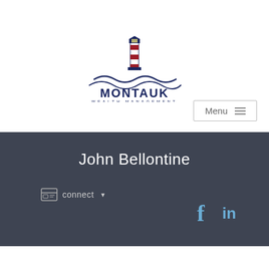[Figure (logo): Montauk Wealth Management logo with lighthouse illustration above wavy lines and company name]
[Figure (other): Menu button with hamburger icon lines, light gray border]
John Bellontine
connect ▼
[Figure (other): Facebook 'f' icon and LinkedIn 'in' icon in blue]